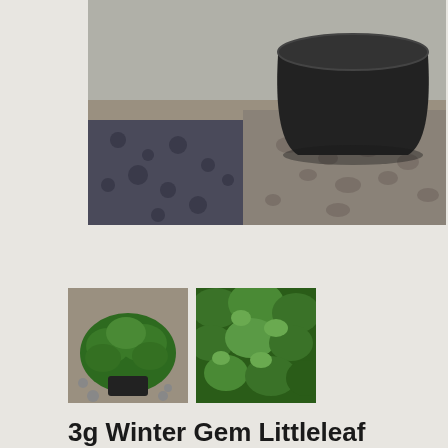[Figure (photo): Close-up photo of a black plastic nursery pot sitting on mixed gravel/stone ground with dark blue/grey slate gravel on the left side]
[Figure (photo): Thumbnail 1: Small rounded green boxwood shrub in a black pot on gravel ground]
[Figure (photo): Thumbnail 2: Close-up of dense bright green boxwood foliage on gravel]
3g Winter Gem Littleleaf Boxwood
Buxus microphylla 'Winter Gem'